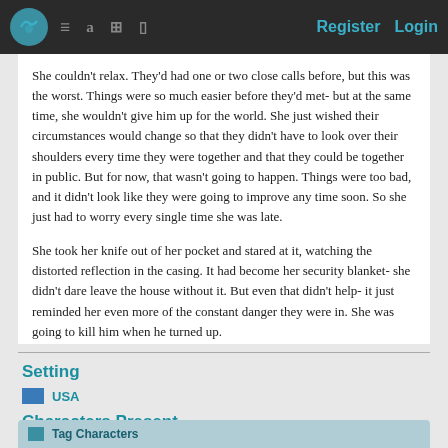Register   Login
She couldn't relax. They'd had one or two close calls before, but this was the worst. Things were so much easier before they'd met- but at the same time, she wouldn't give him up for the world. She just wished their circumstances would change so that they didn't have to look over their shoulders every time they were together and that they could be together in public. But for now, that wasn't going to happen. Things were too bad, and it didn't look like they were going to improve any time soon. So she just had to worry every single time she was late.
She took her knife out of her pocket and stared at it, watching the distorted reflection in the casing. It had become her security blanket- she didn't dare leave the house without it. But even that didn't help- it just reminded her even more of the constant danger they were in. She was going to kill him when he turned up.
Setting
USA
Characters Present
[Figure (photo): Two character profile photos: a young man with dark hair against dark background, and a woman with dark hair and purple top]
Tag Characters